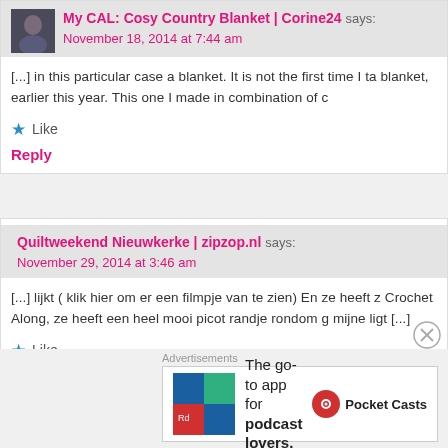My CAL: Cosy Country Blanket | Corine24 says:
November 18, 2014 at 7:44 am
[...] in this particular case a blanket. It is not the first time I ta blanket, earlier this year. This one I made in combination of c
Like
Reply
Quiltweekend Nieuwkerke | zipzop.nl says:
November 29, 2014 at 3:46 am
[...] lijkt ( klik hier om er een filmpje van te zien) En ze heeft z Crochet Along, ze heeft een heel mooi picot randje rondom g mijne ligt [...]
Like
[Figure (infographic): Pocket Casts advertisement: The go-to app for podcast lovers.]